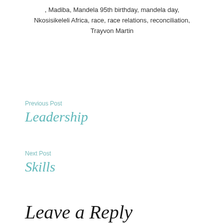, Madiba, Mandela 95th birthday, mandela day, Nkosisikeleli Africa, race, race relations, reconciliation, Trayvon Martin
Previous Post
Leadership
Next Post
Skills
Leave a Reply